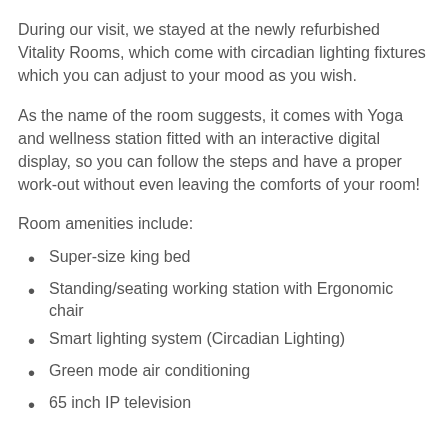During our visit, we stayed at the newly refurbished Vitality Rooms, which come with circadian lighting fixtures which you can adjust to your mood as you wish.
As the name of the room suggests, it comes with Yoga and wellness station fitted with an interactive digital display, so you can follow the steps and have a proper work-out without even leaving the comforts of your room!
Room amenities include:
Super-size king bed
Standing/seating working station with Ergonomic chair
Smart lighting system (Circadian Lighting)
Green mode air conditioning
65 inch IP television